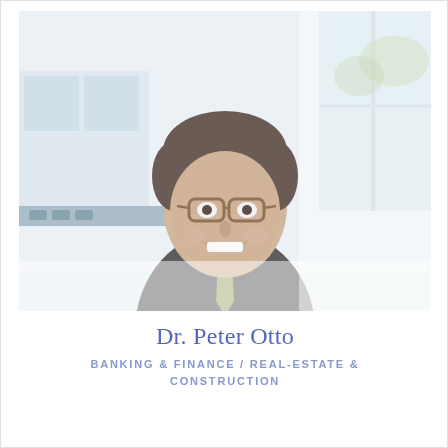[Figure (photo): Professional headshot of Dr. Peter Otto, a middle-aged man with gray-brown hair wearing glasses, a dark gray suit, light blue shirt, and a green patterned tie, smiling in an office setting with large windows and white walls in the background. Photo has a bright, slightly faded/light-washed appearance.]
Dr. Peter Otto
BANKING & FINANCE / REAL-ESTATE & CONSTRUCTION